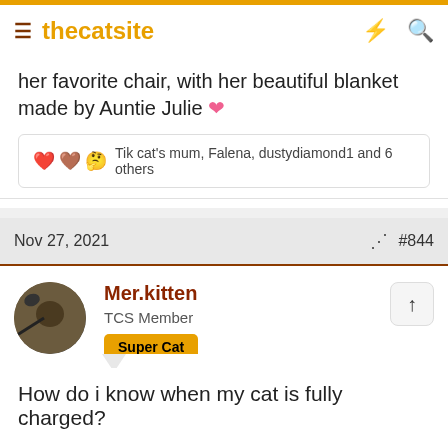thecatsite
her favorite chair, with her beautiful blanket made by Auntie Julie 🩷
❤️🫐🤔 Tik cat's mum, Falena, dustydiamond1 and 6 others
Nov 27, 2021   #844
Mer.kitten
TCS Member
Super Cat
How do i know when my cat is fully charged?